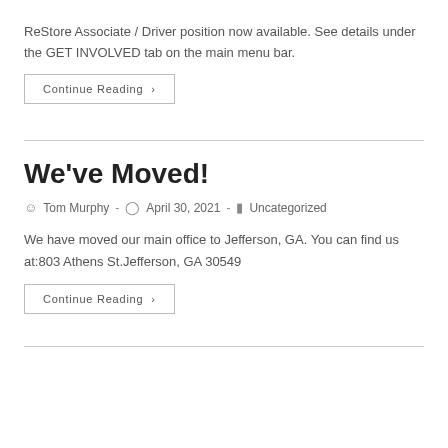ReStore Associate / Driver position now available. See details under the GET INVOLVED tab on the main menu bar.
Continue Reading ›
We've Moved!
Tom Murphy - April 30, 2021 - Uncategorized
We have moved our main office to Jefferson, GA. You can find us at:803 Athens St.Jefferson, GA 30549
Continue Reading ›